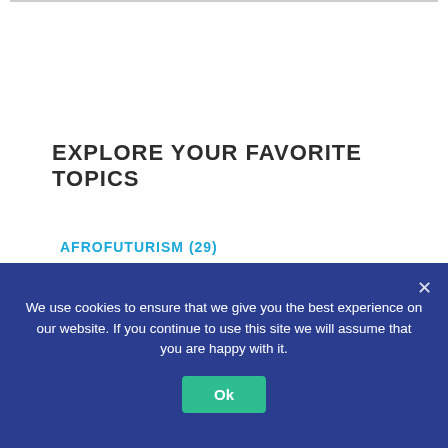EXPLORE YOUR FAVORITE TOPICS
AFROFUTURISM (29)
BLACK HISTORY MONTH (26)
We use cookies to ensure that we give you the best experience on our website. If you continue to use this site we will assume that you are happy with it.